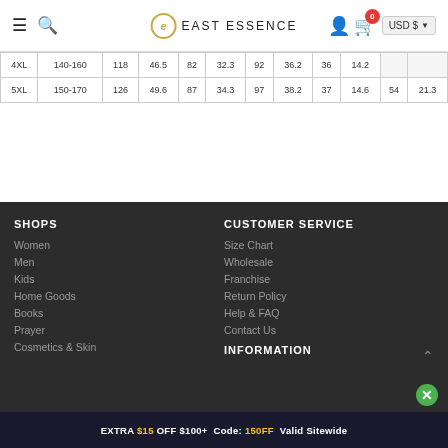East Essence - navigation header with logo, search, user and cart icons, USD currency selector
| 4XL | 140-160 | 118 | 46.5 | 82 | 32.3 | 92 | 36.2 | 36 | 14.2 | ... | ... |
| 5XL | 150-170 | 126 | 49.6 | 87 | 34.3 | 97 | 38.2 | 37 | 14.6 | 54 | 21.3 |
SHOPS
Women
Men
Kids
Home Goods
Books
Prayer
Cosmetics & Skin
CUSTOMER SERVICE
Size Chart
Wholesale
Franchise
Return Policy
Help & FAQ
Contact Us
INFORMATION
EXTRA $15 OFF $100+ Code: 150FF Valid Sitewide